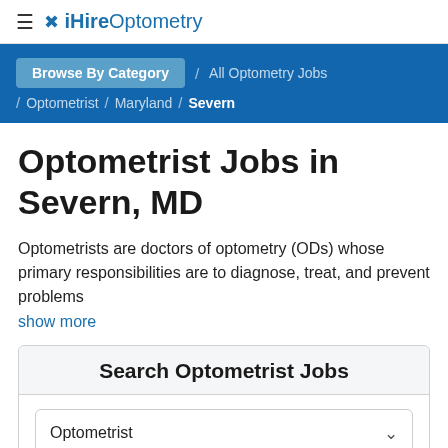≡ iHireOptometry
Browse By Category / All Optometry Jobs / Optometrist / Maryland / Severn
Optometrist Jobs in Severn, MD
Optometrists are doctors of optometry (ODs) whose primary responsibilities are to diagnose, treat, and prevent problems
show more
Search Optometrist Jobs
Optometrist